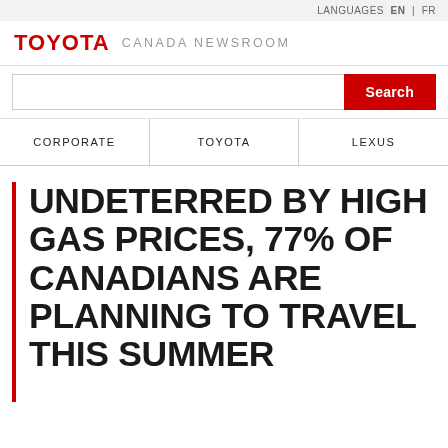LANGUAGES EN | FR
TOYOTA CANADA NEWSROOM
[Figure (screenshot): Search input field with red Search button]
| CORPORATE | TOYOTA | LEXUS |
| --- | --- | --- |
UNDETERRED BY HIGH GAS PRICES, 77% OF CANADIANS ARE PLANNING TO TRAVEL THIS SUMMER